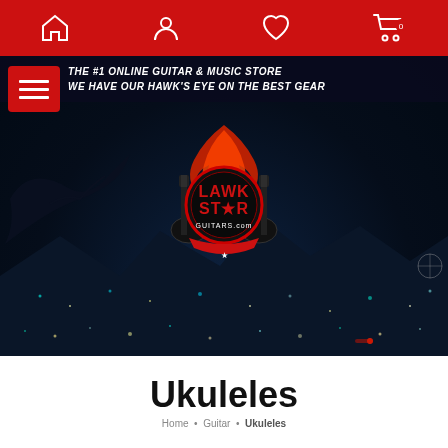[Figure (screenshot): Red navigation bar with home, user, heart, and cart icons]
[Figure (photo): Dark night cityscape background with LawkStar Guitars logo (crossed guitars with flames), bird silhouette flying on left, city lights in background. Tagline text: THE #1 ONLINE GUITAR & MUSIC STORE / WE HAVE OUR HAWK'S EYE ON THE BEST GEAR]
Ukuleles
Home • Guitar • Ukuleles